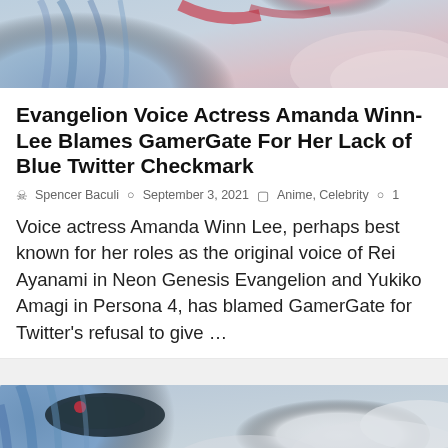[Figure (illustration): Anime character illustration – partial view of a character with blue hair and red accents, cropped at top of page]
Evangelion Voice Actress Amanda Winn-Lee Blames GamerGate For Her Lack of Blue Twitter Checkmark
Spencer Baculi  September 3, 2021  Anime, Celebrity  1
Voice actress Amanda Winn Lee, perhaps best known for her roles as the original voice of Rei Ayanami in Neon Genesis Evangelion and Yukiko Amagi in Persona 4, has blamed GamerGate for Twitter's refusal to give ...
[Figure (illustration): Anime character illustration – close-up of a character with blue hair and red headpiece against cloudy sky background. reCAPTCHA privacy badge visible in bottom-right corner.]